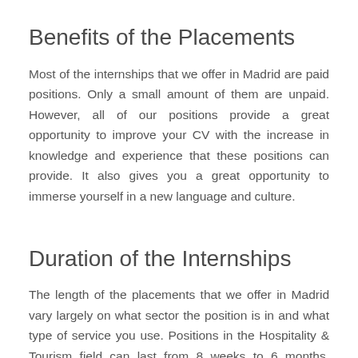Benefits of the Placements
Most of the internships that we offer in Madrid are paid positions. Only a small amount of them are unpaid. However, all of our positions provide a great opportunity to improve your CV with the increase in knowledge and experience that these positions can provide. It also gives you a great opportunity to immerse yourself in a new language and culture.
Duration of the Internships
The length of the placements that we offer in Madrid vary largely on what sector the position is in and what type of service you use. Positions in the Hospitality & Tourism field can last from 8 weeks to 6 months. Positions in the